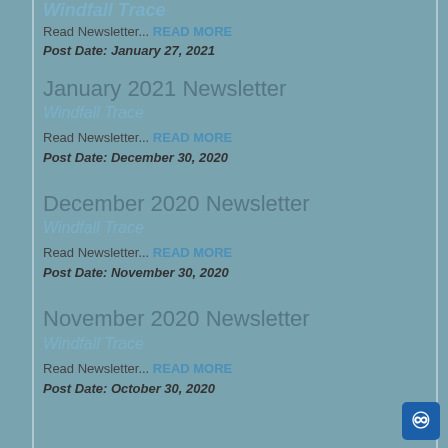Windfall Trace (partial, top of page)
Read Newsletter... READ MORE
Post Date: January 27, 2021
January 2021 Newsletter
Windfall Trace
Read Newsletter... READ MORE
Post Date: December 30, 2020
December 2020 Newsletter
Windfall Trace
Read Newsletter... READ MORE
Post Date: November 30, 2020
November 2020 Newsletter
Windfall Trace
Read Newsletter... READ MORE
Post Date: October 30, 2020